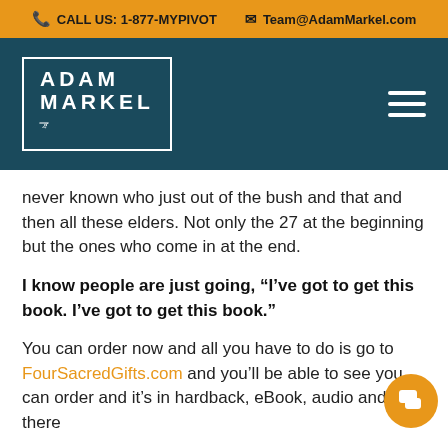CALL US: 1-877-MYPIVOT   Team@AdamMarkel.com
[Figure (logo): Adam Markel logo with signature on dark teal background with hamburger menu icon]
never known who just out of the bush and that and then all these elders. Not only the 27 at the beginning but the ones who come in at the end.
I know people are just going, “I’ve got to get this book. I’ve got to get this book.”
You can order now and all you have to do is go to FourSacredGifts.com and you’ll be able to see you can order and it’s in hardback, eBook, audio and there